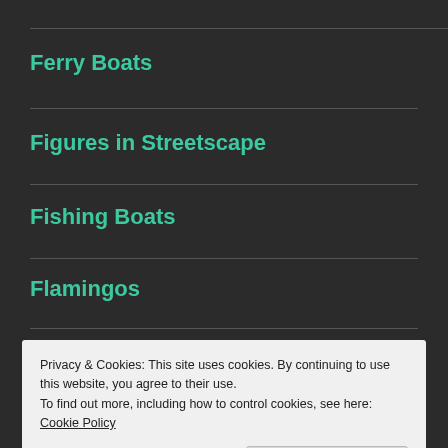Ferry Boats
Figures in Streetscape
Fishing Boats
Flamingos
Florence
Privacy & Cookies: This site uses cookies. By continuing to use this website, you agree to their use.
To find out more, including how to control cookies, see here: Cookie Policy
Close and accept
France